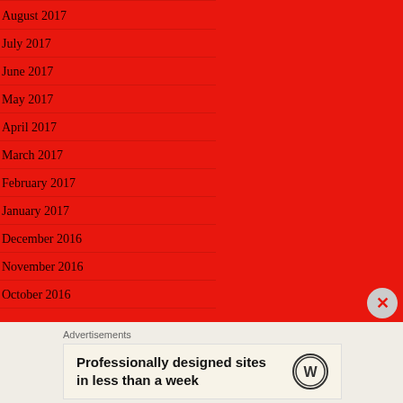August 2017
July 2017
June 2017
May 2017
April 2017
March 2017
February 2017
January 2017
December 2016
November 2016
October 2016
Advertisements
Professionally designed sites in less than a week